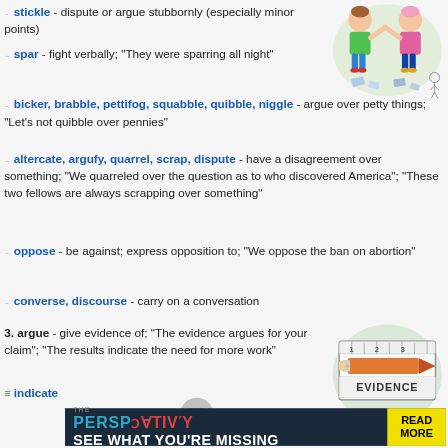↔ stickle - dispute or argue stubbornly (especially minor points)
↔ spar - fight verbally; "They were sparring all night"
↔ bicker, brabble, pettifog, squabble, quibble, niggle - argue over petty things; "Let's not quibble over pennies"
↔ altercate, argufy, quarrel, scrap, dispute - have a disagreement over something; "We quarreled over the question as to who discovered America"; "These two fellows are always scrapping over something"
↔ oppose - be against; express opposition to; "We oppose the ban on abortion"
↔ converse, discourse - carry on a conversation
3. argue - give evidence of; "The evidence argues for your claim"; "The results indicate the need for more work"
≡ indicate
[Figure (illustration): Cartoon of two children arguing/fighting]
[Figure (illustration): Cartoon image of a ruler with a pencil labeled EVIDENCE]
[Figure (other): Advertisement banner: THE PERSPECTIVE - SEE WHAT YOU'RE MISSING | READ MORE]